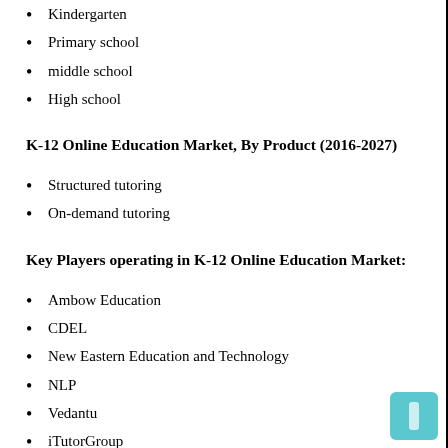Kindergarten
Primary school
middle school
High school
K-12 Online Education Market, By Product (2016-2027)
Structured tutoring
On-demand tutoring
Key Players operating in K-12 Online Education Market:
Ambow Education
CDEL
New Eastern Education and Technology
NLP
Vedantu
iTutorGroup